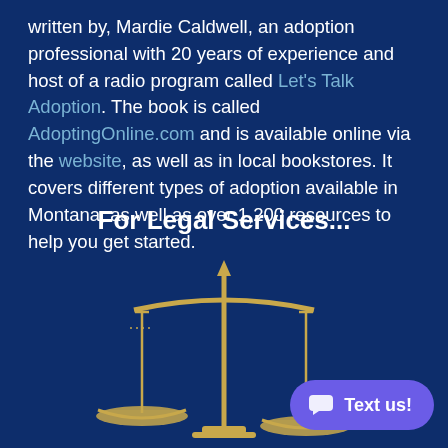written by, Mardie Caldwell, an adoption professional with 20 years of experience and host of a radio program called Let's Talk Adoption. The book is called AdoptingOnline.com and is available online via the website, as well as in local bookstores. It covers different types of adoption available in Montana, as well as over 1,200 resources to help you get started.
For Legal Services...
[Figure (illustration): Golden scales of justice illustration on dark blue background]
Text us!